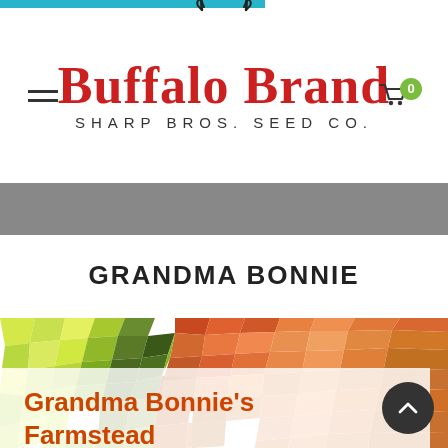[Figure (logo): Buffalo Brand Sharp Bros. Seed Co. logo with buffalo silhouette above red stylized text]
GRANDMA BONNIE
[Figure (illustration): Mosaic/stained-glass pattern background with yellow, green, orange tiles. Overlay box contains orange heading 'Grandma Bonnie's Farmstead' and partial text 'It isn't always easy to capture']